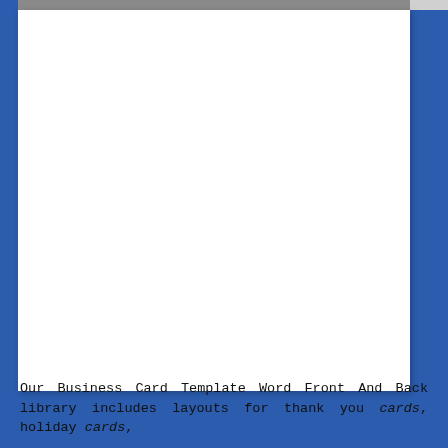[Figure (screenshot): A white rectangular card/document area displayed against a blue background, with a gray toolbar strip at the top. The card is mostly blank/white.]
Our Business Card Template Word Front And Back library includes layouts for thank you cards, holiday cards,